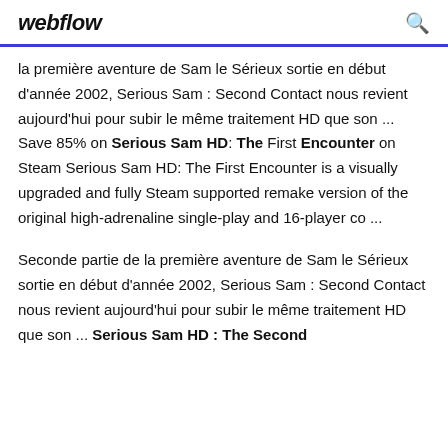webflow
la première aventure de Sam le Sérieux sortie en début d'année 2002, Serious Sam : Second Contact nous revient aujourd'hui pour subir le même traitement HD que son ... Save 85% on Serious Sam HD: The First Encounter on Steam Serious Sam HD: The First Encounter is a visually upgraded and fully Steam supported remake version of the original high-adrenaline single-play and 16-player co ...
Seconde partie de la première aventure de Sam le Sérieux sortie en début d'année 2002, Serious Sam : Second Contact nous revient aujourd'hui pour subir le même traitement HD que son ... Serious Sam HD : The Second